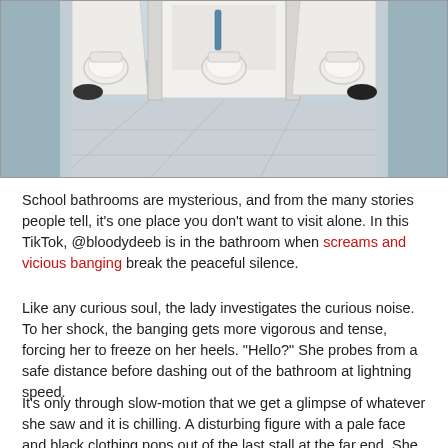[Figure (photo): Photo of a school bathroom interior showing three white toilet stalls with open doors, white tile floor, and pale blue walls.]
School bathrooms are mysterious, and from the many stories people tell, it's one place you don't want to visit alone. In this TikTok, @bloodydeeb is in the bathroom when screams and vicious banging break the peaceful silence.
Like any curious soul, the lady investigates the curious noise. To her shock, the banging gets more vigorous and tense, forcing her to freeze on her heels. "Hello?" She probes from a safe distance before dashing out of the bathroom at lightning speed.
It's only through slow-motion that we get a glimpse of whatever she saw and it is chilling. A disturbing figure with a pale face and black clothing pops out of the last stall at the far end. She didn't wait to